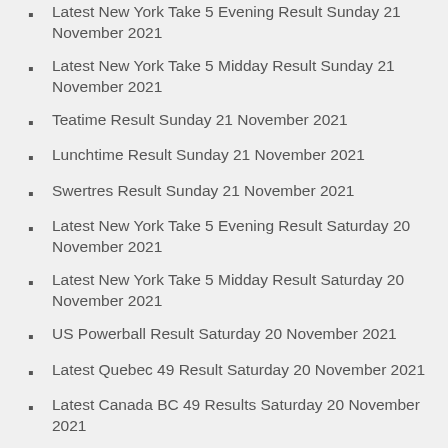Latest New York Take 5 Evening Result Sunday 21 November 2021
Latest New York Take 5 Midday Result Sunday 21 November 2021
Teatime Result Sunday 21 November 2021
Lunchtime Result Sunday 21 November 2021
Swertres Result Sunday 21 November 2021
Latest New York Take 5 Evening Result Saturday 20 November 2021
Latest New York Take 5 Midday Result Saturday 20 November 2021
US Powerball Result Saturday 20 November 2021
Latest Quebec 49 Result Saturday 20 November 2021
Latest Canada BC 49 Results Saturday 20 November 2021